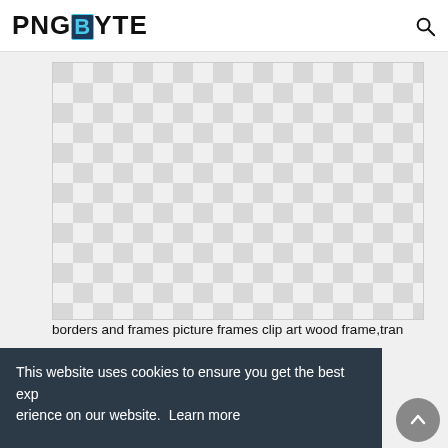PNGBYTE
[Figure (other): Checkerboard transparency pattern representing a transparent PNG image preview area]
borders and frames picture frames clip art wood frame,tran
This website uses cookies to ensure you get the best experience on our website. Learn more
Got it!